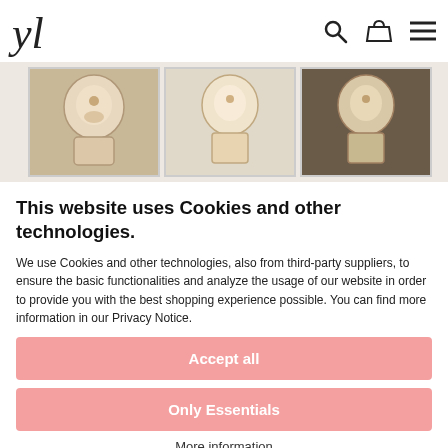YL logo, search icon, basket icon, menu icon
[Figure (photo): Three product thumbnail images of ornate decorative clocks/antiques in a horizontal strip]
This website uses Cookies and other technologies.
We use Cookies and other technologies, also from third-party suppliers, to ensure the basic functionalities and analyze the usage of our website in order to provide you with the best shopping experience possible. You can find more information in our Privacy Notice.
Accept all
Only Essentials
More information